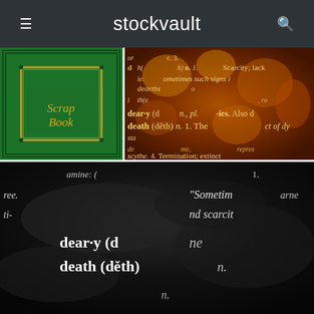stockvault
[Figure (photo): Green scrap book cover with gold border and italic 'Scrap Book' text]
[Figure (photo): Dictionary page with fire overlay showing definitions of 'dearth', 'deary', 'death' with text about scarcity, termination, extinction]
[Figure (photo): Black and white close-up of dictionary page showing 'dear·y', 'death' definitions with text about famine, scarcity, Sometimes]